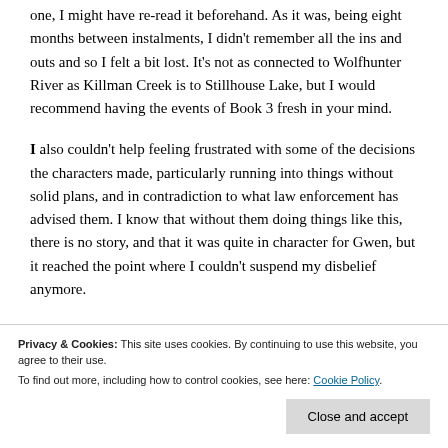one, I might have re-read it beforehand. As it was, being eight months between instalments, I didn't remember all the ins and outs and so I felt a bit lost. It's not as connected to Wolfhunter River as Killman Creek is to Stillhouse Lake, but I would recommend having the events of Book 3 fresh in your mind.
I also couldn't help feeling frustrated with some of the decisions the characters made, particularly running into things without solid plans, and in contradiction to what law enforcement has advised them. I know that without them doing things like this, there is no story, and that it was quite in character for Gwen, but it reached the point where I couldn't suspend my disbelief anymore.
Privacy & Cookies: This site uses cookies. By continuing to use this website, you agree to their use.
To find out more, including how to control cookies, see here: Cookie Policy